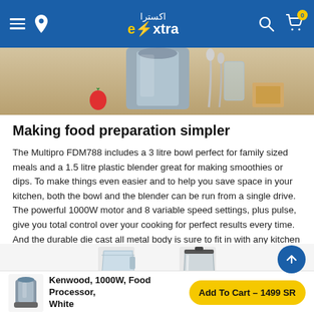extra (اكسترا) - navigation header with menu, location, logo, search, cart
[Figure (photo): Product lifestyle photo showing kitchen tools, a strawberry, biscuits/crackers on a wooden surface with a blender/food processor in the background]
Making food preparation simpler
The Multipro FDM788 includes a 3 litre bowl perfect for family sized meals and a 1.5 litre plastic blender great for making smoothies or dips. To make things even easier and to help you save space in your kitchen, both the bowl and the blender can be run from a single drive. The powerful 1000W motor and 8 variable speed settings, plus pulse, give you total control over your cooking for perfect results every time. And the durable die cast all metal body is sure to fit in with any kitchen style.
[Figure (photo): Thumbnail images of food processor bowl and blender jar attachments]
Kenwood, 1000W, Food Processor, White — Add To Cart – 1499 SR